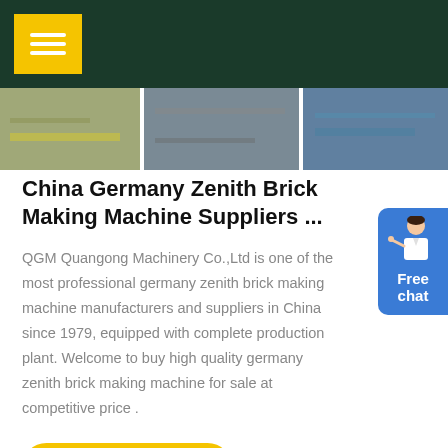Navigation menu header with dark green background and yellow menu button
[Figure (photo): Three side-by-side photos of brick making machinery equipment]
China Germany Zenith Brick Making Machine Suppliers ...
QGM Quangong Machinery Co.,Ltd is one of the most professional germany zenith brick making machine manufacturers and suppliers in China since 1979, equipped with complete production plant. Welcome to buy high quality germany zenith brick making machine for sale at competitive price .
[Figure (illustration): Chat widget with person avatar and Free chat button in blue]
GET PRICE